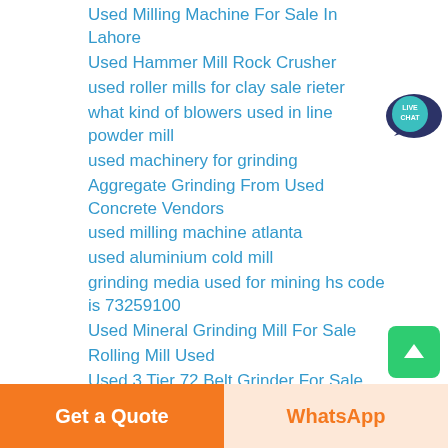Used Milling Machine For Sale In Lahore
Used Hammer Mill Rock Crusher
used roller mills for clay sale rieter
what kind of blowers used in line powder mill
used machinery for grinding
Aggregate Grinding From Used Concrete Vendors
used milling machine atlanta
used aluminium cold mill
grinding media used for mining hs code is 73259100
Used Mineral Grinding Mill For Sale
Rolling Mill Used
Used 3 Tier 72 Belt Grinder For Sale
[Figure (logo): Live Chat speech bubble icon with dark navy background and teal circle containing LIVE CHAT text]
Get a Quote
WhatsApp